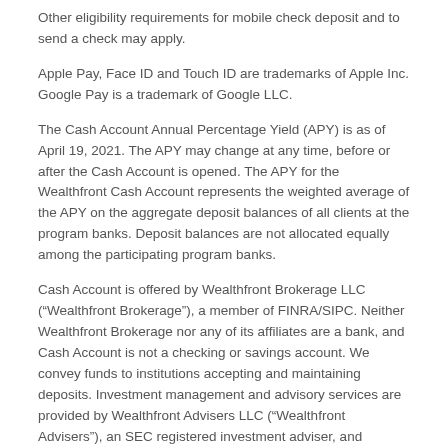Other eligibility requirements for mobile check deposit and to send a check may apply.
Apple Pay, Face ID and Touch ID are trademarks of Apple Inc. Google Pay is a trademark of Google LLC.
The Cash Account Annual Percentage Yield (APY) is as of April 19, 2021. The APY may change at any time, before or after the Cash Account is opened. The APY for the Wealthfront Cash Account represents the weighted average of the APY on the aggregate deposit balances of all clients at the program banks. Deposit balances are not allocated equally among the participating program banks.
Cash Account is offered by Wealthfront Brokerage LLC (“Wealthfront Brokerage”), a member of FINRA/SIPC. Neither Wealthfront Brokerage nor any of its affiliates are a bank, and Cash Account is not a checking or savings account. We convey funds to institutions accepting and maintaining deposits. Investment management and advisory services are provided by Wealthfront Advisers LLC (“Wealthfront Advisers”), an SEC registered investment adviser, and financial planning tools are provided by Wealthfront Software LLC (“Wealthfront”).
The cash balance in the Cash Account is swept to one or more banks (the “program banks”) where it earns a variable rate of interest and is eligible for FDIC insurance. FDIC insurance is not provided until the funds arrive at the